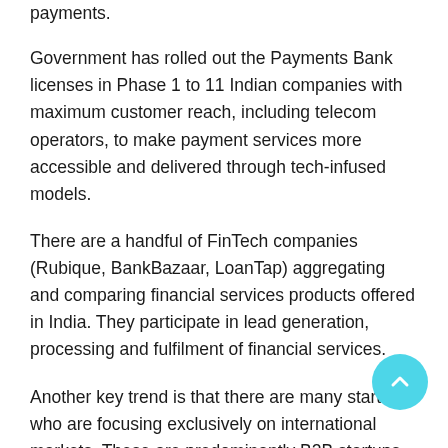payments.
Government has rolled out the Payments Bank licenses in Phase 1 to 11 Indian companies with maximum customer reach, including telecom operators, to make payment services more accessible and delivered through tech-infused models.
There are a handful of FinTech companies (Rubique, BankBazaar, LoanTap) aggregating and comparing financial services products offered in India. They participate in lead generation, processing and fulfilment of financial services.
Another key trend is that there are many startups who are focusing exclusively on international markets. These are predominantly B2B startups in